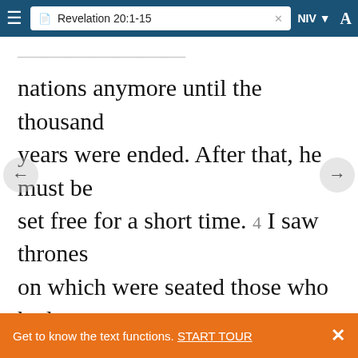Revelation 20:1-15 — NIV
...to keep him from deceiving the nations anymore until the thousand years were ended. After that, he must be set free for a short time. 4 I saw thrones on which were seated those who had been given authority to judge. And I saw the souls of those who had been beheaded because of their testimony about Jesus and because of the word of God. They[1] had not worshipped the
Get to know the text functions. START TOUR